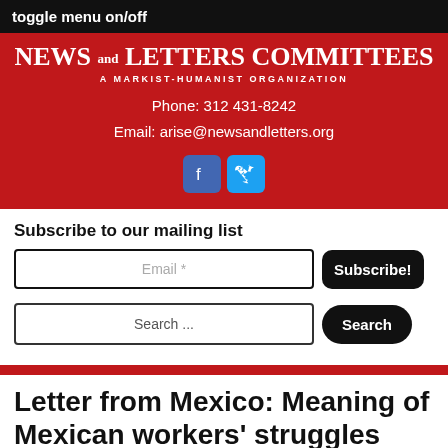toggle menu on/off
[Figure (logo): News and Letters Committees — A Marxist-Humanist Organization logo with phone and email contact info and social media icons on red background]
Subscribe to our mailing list
Email *
Subscribe!
Search ...
Search
Letter from Mexico: Meaning of Mexican workers’ struggles
March 10, 2016